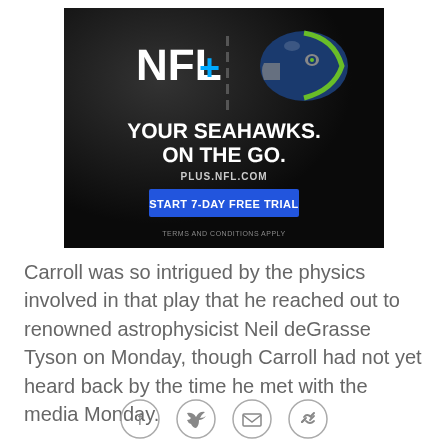[Figure (illustration): NFL+ advertisement banner featuring NFL+ logo with cyan plus sign, Seattle Seahawks helmet logo, text 'YOUR SEAHAWKS. ON THE GO.' with PLUS.NFL.COM URL and 'START 7-DAY FREE TRIAL' blue button on dark background]
Carroll was so intrigued by the physics involved in that play that he reached out to renowned astrophysicist Neil deGrasse Tyson on Monday, though Carroll had not yet heard back by the time he met with the media Monday.
[Figure (illustration): Social media sharing icons: Facebook, Twitter, email/envelope, and link/chain icons in circular outlines]